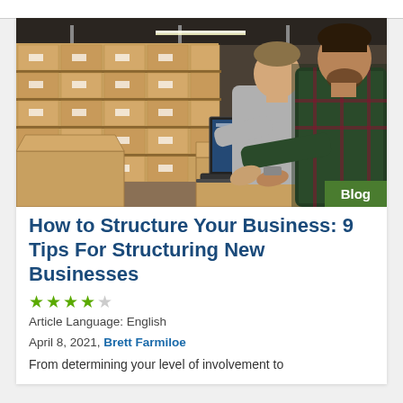[Figure (photo): Two men in a warehouse with stacked cardboard boxes on shelves, both looking at a laptop computer open on top of a cardboard box. The man on the right wears a plaid shirt.]
How to Structure Your Business: 9 Tips For Structuring New Businesses
★★★★☆
Article Language: English
April 8, 2021, Brett Farmiloe
From determining your level of involvement to